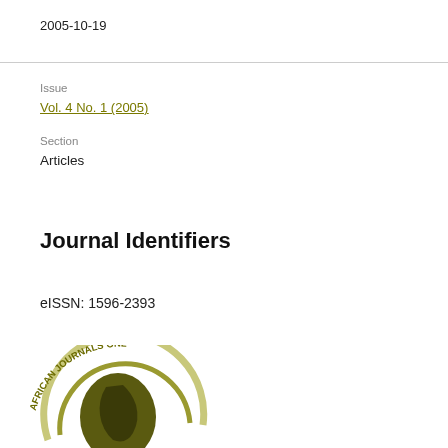2005-10-19
Issue
Vol. 4 No. 1 (2005)
Section
Articles
Journal Identifiers
eISSN: 1596-2393
[Figure (logo): African Journals Online (AJOL) logo — circular emblem with text 'AFRICAN JOURNALS ONLINE' arcing around a globe/map icon in olive/dark green tones]